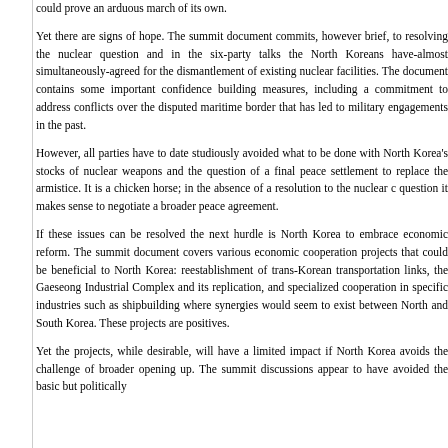could prove an arduous march of its own.
Yet there are signs of hope. The summit document commits, however brief, to resolving the nuclear question and in the six-party talks the North Koreans have-almost simultaneously-agreed for the dismantlement of existing nuclear facilities. The document contains some important confidence building measures, including a commitment to address conflicts over the disputed maritime border that has led to military engagements in the past.
However, all parties have to date studiously avoided what to be done with North Korea's stocks of nuclear weapons and the question of a final peace settlement to replace the armistice. It is a chicken horse; in the absence of a resolution to the nuclear question it makes sense to negotiate a broader peace agreement.
If these issues can be resolved the next hurdle is North Korea to embrace economic reform. The summit document covers various economic cooperation projects that could be beneficial to North Korea: reestablishment of trans-Korean transportation links, the Gaeseong Industrial Complex and its replication, and specialized cooperation in specific industries such as shipbuilding where synergies would seem to exist between North and South Korea. These projects are positives.
Yet the projects, while desirable, will have a limited impact if North Korea avoids the challenge of broader opening up. The summit discussions appear to have avoided the basic but politically